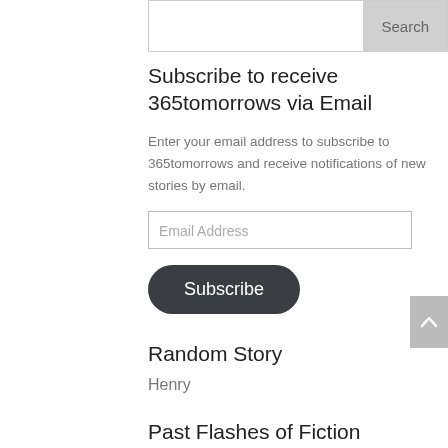Search
Subscribe to receive 365tomorrows via Email
Enter your email address to subscribe to 365tomorrows and receive notifications of new stories by email.
Email Address
Subscribe
Random Story
Henry
Past Flashes of Fiction
Select Month